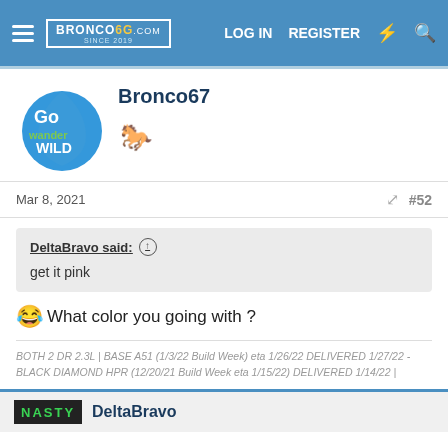Bronco6G.com — LOG IN  REGISTER
[Figure (logo): Go Wander Wild logo with user avatar for Bronco67, showing a green/blue outdoor brand logo and a bronco horse silhouette icon]
Bronco67
Mar 8, 2021  #52
DeltaBravo said: ↑

get it pink
😂 What color you going with ?
BOTH 2 DR 2.3L | BASE A51 (1/3/22 Build Week) eta 1/26/22 DELIVERED 1/27/22 - BLACK DIAMOND HPR (12/20/21 Build Week eta 1/15/22) DELIVERED 1/14/22 |
DeltaBravo